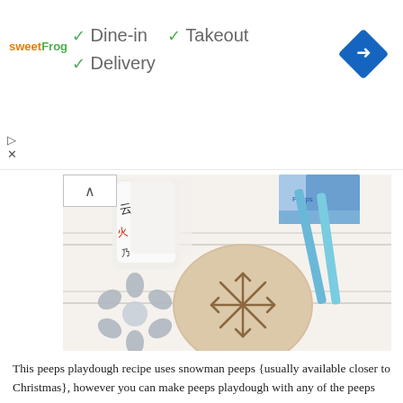[Figure (infographic): sweetFrog ad banner showing dine-in, takeout, delivery options with checkmarks and navigation icon]
[Figure (photo): Peeps playdough recipe photo showing snowman peeps, a ball of beige playdough with snowflake impression, snowflake cookie cutters, and blue plastic tools on white wood background]
This peeps playdough recipe uses snowman peeps {usually available closer to Christmas}, however you can make peeps playdough with any of the peeps